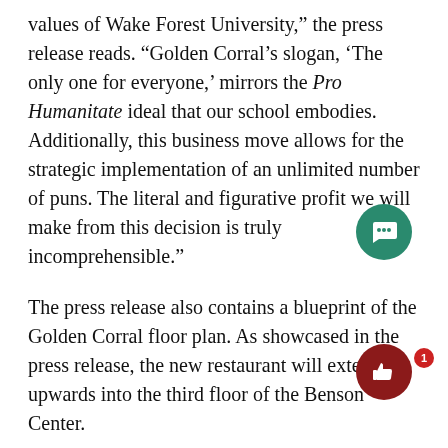values of Wake Forest University,' the press release reads. “Golden Corral’s slogan, ‘The only one for everyone,’ mirrors the Pro Humanitate ideal that our school embodies. Additionally, this business move allows for the strategic implementation of an unlimited number of puns. The literal and figurative profit we will make from this decision is truly incomprehensible.”
The press release also contains a blueprint of the Golden Corral floor plan. As showcased in the press release, the new restaurant will extend upwards into the third floor of the Benson Center.
Head of construction Robert D. Bulder says that the transition from Tex-Mex grab-and-go to bustling buffet will begin the first reading-day of finals in an attempt to disrupt as many people as humanly possible.